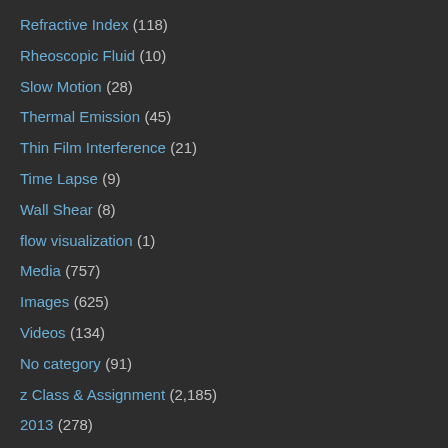Refractive Index (118)
Rheoscopic Fluid (10)
Slow Motion (28)
Thermal Emission (45)
Thin Film Interference (21)
Time Lapse (9)
Wall Shear (8)
flow visualization (1)
Media (757)
Images (625)
Videos (134)
No category (91)
z Class & Assignment (2,185)
2013 (278)
2013 Spring Clouds First (47)
2013 Spring Clouds Second (46)
2013 Spring Get Wet (48)
2013 Spring Team First (46)